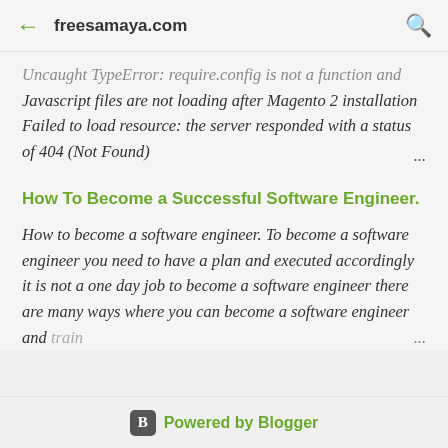← freesamaya.com 🔍
Uncaught TypeError: require.config is not a function and Javascript files are not loading after Magento 2 installation Failed to load resource: the server responded with a status of 404 (Not Found) ...
How To Become a Successful Software Engineer.
How to become a software engineer. To become a software engineer you need to have a plan and executed accordingly it is not a one day job to become a software engineer there are many ways where you can become a software engineer and train ...
Powered by Blogger